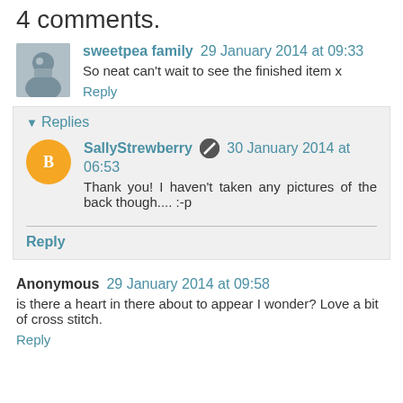4 comments.
sweetpea family 29 January 2014 at 09:33
So neat can't wait to see the finished item x
Reply
Replies
SallyStrewberry 30 January 2014 at 06:53
Thank you! I haven't taken any pictures of the back though.... :-p
Reply
Anonymous 29 January 2014 at 09:58
is there a heart in there about to appear I wonder? Love a bit of cross stitch.
Reply